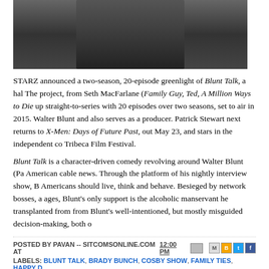[Figure (photo): Top portion of a person wearing a dark/black sweater against a light background]
STARZ announced a two-season, 20-episode greenlight of Blunt Talk, a half... The project, from Seth MacFarlane (Family Guy, Ted, A Million Ways to Die... up straight-to-series with 20 episodes over two seasons, set to air in 2015. Walter Blunt and also serves as a producer. Patrick Stewart next returns to... X-Men: Days of Future Past, out May 23, and stars in the independent com... Tribeca Film Festival.
Blunt Talk is a character-driven comedy revolving around Walter Blunt (Pat... American cable news. Through the platform of his nightly interview show, B... Americans should live, think and behave. Besieged by network bosses, a... ages, Blunt's only support is the alcoholic manservant he transplanted from... from Blunt's well-intentioned, but mostly misguided decision-making, both o...
POSTED BY PAVAN -- SITCOMSONLINE.COM AT 12:00 PM
LABELS: BLUNT TALK, BRADY BUNCH, COSBY SHOW, FAMILY TIES, HAPPY D...
TUESDAY, APRIL 29, 2014
Maude and Designing Women to Join Logo; Craig Ferg...
[Figure (photo): Two partial photos at the bottom of the page]